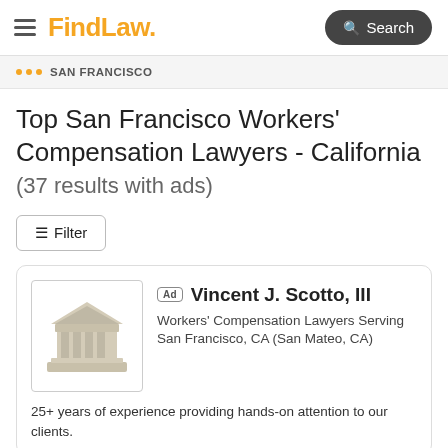FindLaw — Search
SAN FRANCISCO
Top San Francisco Workers' Compensation Lawyers - California (37 results with ads)
Filter
Ad  Vincent J. Scotto, III
Workers' Compensation Lawyers Serving San Francisco, CA (San Mateo, CA)
25+ years of experience providing hands-on attention to our clients.